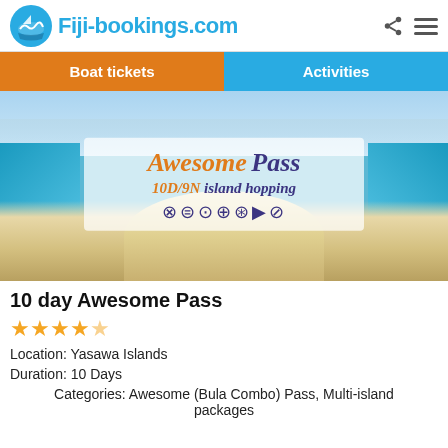Fiji-bookings.com
Boat tickets | Activities
[Figure (photo): Tropical island beach scene with turquoise water and white sand, overlaid with 'Awesome Pass 10D/9N island hopping' promotional graphic with icons]
10 day Awesome Pass
★★★★½
Location: Yasawa Islands
Duration: 10 Days
Categories: Awesome (Bula Combo) Pass, Multi-island packages